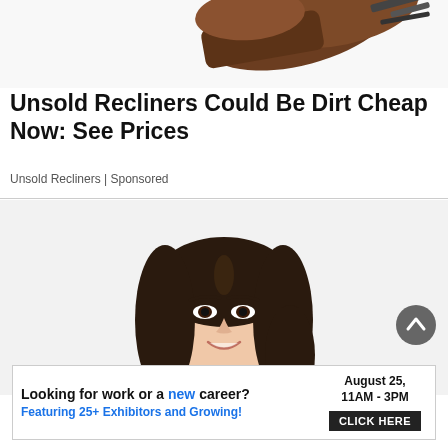[Figure (photo): Partial image of a brown recliner chair with metal hardware, cropped at top of page]
Unsold Recliners Could Be Dirt Cheap Now: See Prices
Unsold Recliners | Sponsored
[Figure (photo): Portrait photo of a young Asian woman with long dark hair, wearing a pink blazer, smiling, on a light background]
[Figure (infographic): Advertisement banner: 'Looking for work or a new career? August 25, 11AM - 3PM. Featuring 25+ Exhibitors and Growing! CLICK HERE']